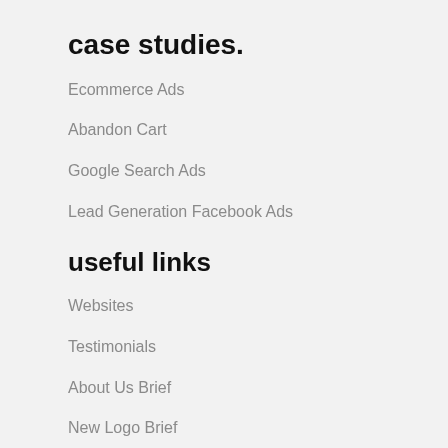case studies.
Ecommerce Ads
Abandon Cart
Google Search Ads
Lead Generation Facebook Ads
useful links
Websites
Testimonials
About Us Brief
New Logo Brief
Lead Gen Brief